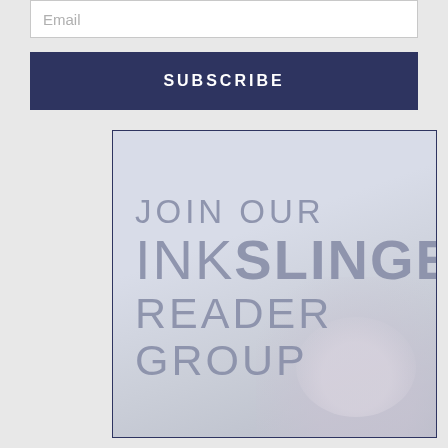Email
SUBSCRIBE
[Figure (illustration): Promotional image with text 'JOIN OUR INKSLINGER READER GROUP' overlaid on a light lavender/grey background, enclosed in a dark navy border.]